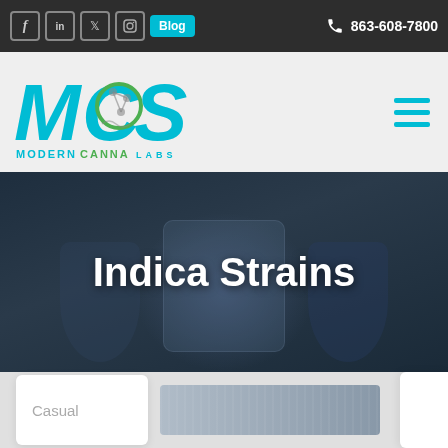Facebook | LinkedIn | Twitter | Instagram | Blog | 863-608-7800
[Figure (logo): Modern Canna Labs logo with MCS letters in cyan and green accent, with text MODERN CANNA LABS below]
Indica Strains
[Figure (photo): Dark background hero image showing a person in blue gloves holding a laboratory flask/bag with cannabis material]
Casual